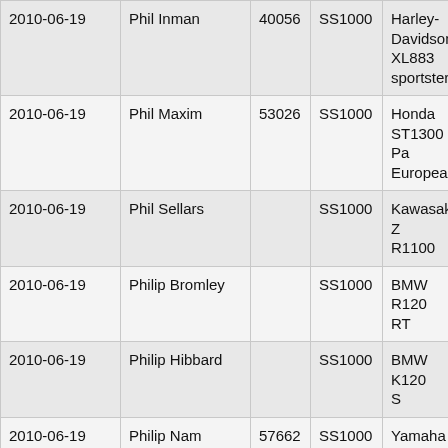| 2010-06-19 | Phil Inman | 40056 | SS1000 | Harley-Davidson XL883 sportster |
| 2010-06-19 | Phil Maxim | 53026 | SS1000 | Honda ST1300 Pa European |
| 2010-06-19 | Phil Sellars |  | SS1000 | Kawasaki Z R1100 |
| 2010-06-19 | Philip Bromley |  | SS1000 | BMW R120 RT |
| 2010-06-19 | Philip Hibbard |  | SS1000 | BMW K120 S |
| 2010-06-19 | Philip Nam | 57662 | SS1000 | Yamaha XJ Diversion |
| 2010-06-19 | Philip Weston | 432 | SS1000 | Yamaha FZS1000 Fazer |
| 2010-06-19 | Phillip McQueen | 55181 | SS1000 | Suzuki Ban |
| 2010-06-19 | Rab Cumming |  | SS1000 | Suzuki GS 750 |
| 2010-06-19 |  |  |  | BMW R11 |